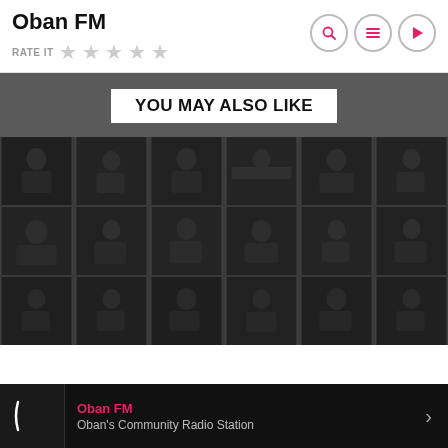Oban FM
RATE IT ☆ ☆ ☆ ☆ ☆
YOU MAY ALSO LIKE
[Figure (photo): Grid of 18 radio studio thumbnail photos arranged in 3 rows of 6 columns, showing people at radio broadcasting desks, dark overlay on images]
Oban FM — Oban's Community Radio Station